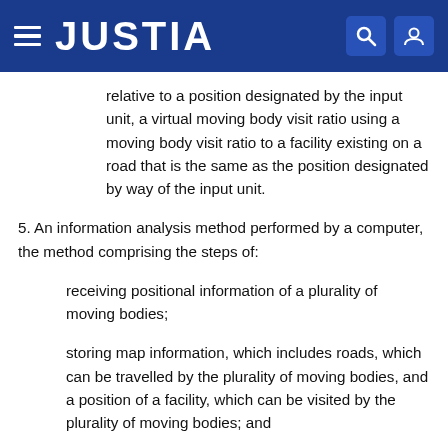JUSTIA
relative to a position designated by the input unit, a virtual moving body visit ratio using a moving body visit ratio to a facility existing on a road that is the same as the position designated by way of the input unit.
5. An information analysis method performed by a computer, the method comprising the steps of:
receiving positional information of a plurality of moving bodies;
storing map information, which includes roads, which can be travelled by the plurality of moving bodies, and a position of a facility, which can be visited by the plurality of moving bodies; and
specifying a number of moving bodies having